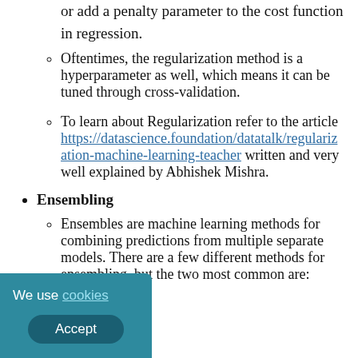or add a penalty parameter to the cost function in regression.
Oftentimes, the regularization method is a hyperparameter as well, which means it can be tuned through cross-validation.
To learn about Regularization refer to the article https://datascience.foundation/datatalk/regularization-machine-learning-teacher written and very well explained by Abhishek Mishra.
Ensembling
Ensembles are machine learning methods for combining predictions from multiple separate models. There are a few different methods for ensembling, but the two most common are: